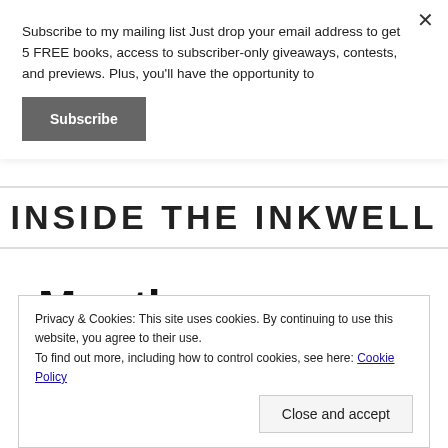Subscribe to my mailing list Just drop your email address to get 5 FREE books, access to subscriber-only giveaways, contests, and previews. Plus, you'll have the opportunity to
Subscribe
INSIDE THE INKWELL
Month: September 2020
Privacy & Cookies: This site uses cookies. By continuing to use this website, you agree to their use.
To find out more, including how to control cookies, see here: Cookie Policy
Close and accept